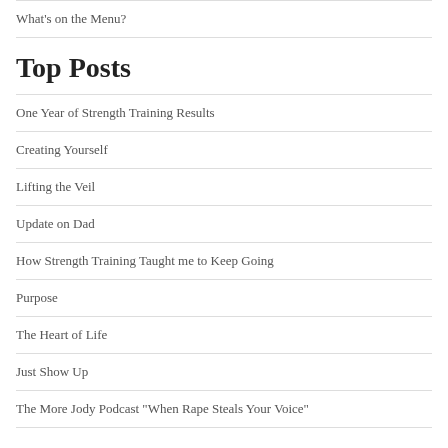What's on the Menu?
Top Posts
One Year of Strength Training Results
Creating Yourself
Lifting the Veil
Update on Dad
How Strength Training Taught me to Keep Going
Purpose
The Heart of Life
Just Show Up
The More Jody Podcast "When Rape Steals Your Voice"